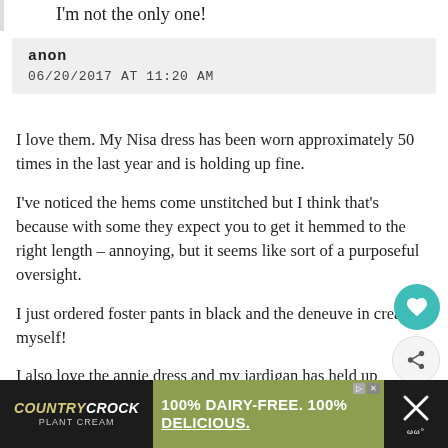I'm not the only one!
anon
06/20/2017 AT 11:20 AM
I love them. My Nisa dress has been worn approximately 50 times in the last year and is holding up fine.

I've noticed the hems come unstitched but I think that's because with some they expect you to get it hemmed to the right length – annoying, but it seems like sort of a purposeful oversight.

I just ordered foster pants in black and the deneuve in cream myself!

I also love the annie dress and my jardigan has held up fabulously as well and really been a workhorse for me.
[Figure (other): Country Crock Plant Cream advertisement banner: '100% DAIRY-FREE. 100% DELICIOUS.']